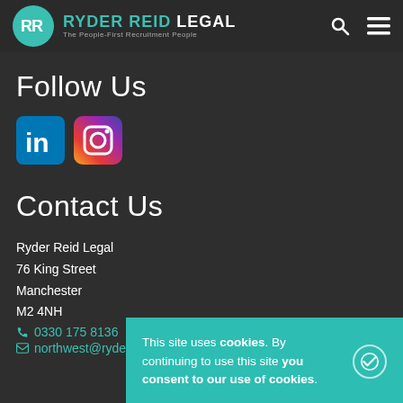[Figure (logo): Ryder Reid Legal logo with teal circle containing RR monogram, brand name in teal and white, tagline 'The People-First Recruitment People']
Follow Us
[Figure (infographic): LinkedIn and Instagram social media icons]
Contact Us
Ryder Reid Legal
76 King Street
Manchester
M2 4NH
0330 175 8136
northwest@ryderreid.com
This site uses cookies. By continuing to use this site you consent to our use of cookies.